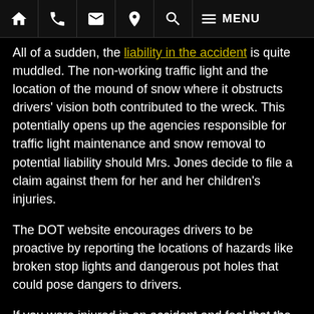Navigation bar with home, phone, email, location, search, and menu icons
All of a sudden, the liability in the accident is quite muddled. The non-working traffic light and the location of the mound of snow where it obstructs drivers' vision both contributed to the wreck. This potentially opens up the agencies responsible for traffic light maintenance and snow removal to potential liability should Mrs. Jones decide to file a claim against them for her and her children's injuries.
The DOT website encourages drivers to be proactive by reporting the locations of hazards like broken stop lights and dangerous pot holes that could pose dangers to drivers.
If you were injured in an accident and feel that the road conditions may have contributed to the circumstances, a New Jersey personal injury attorney can help sort out all